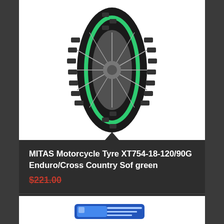[Figure (photo): MITAS motorcycle tire XT754 with green sidewall stripe, showing knobby tread pattern and spoke wheel rim, photographed from front angle against white background]
MITAS Motorcycle Tyre XT754-18-120/90G Enduro/Cross Country Sof green
$221.00
Add to cart
Show Details
[Figure (photo): Partial view of a second product at the bottom of the page, appears to be a blue/white product item]